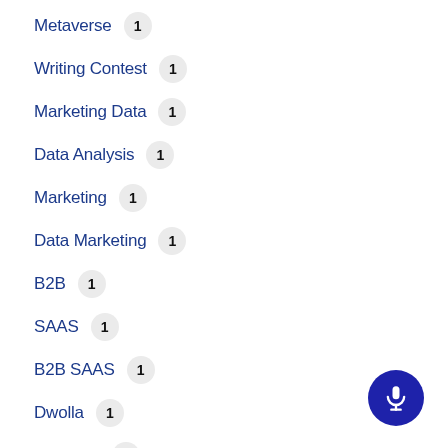Metaverse  1
Writing Contest  1
Marketing Data  1
Data Analysis  1
Marketing  1
Data Marketing  1
B2B  1
SAAS  1
B2B SAAS  1
Dwolla  1
Parabola  1